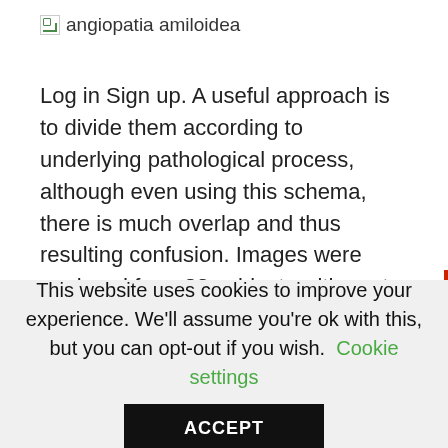angiopatia amiloidea
Log in Sign up. A useful approach is to divide them according to underlying pathological process, although even using this schema, there is much overlap and thus resulting confusion. Images were analyzed from 82 subjects with post-mortem confirmation of the presence or absence of beta-amyloid neuritic plaques.
This website uses cookies to improve your experience. We'll assume you're ok with this, but you can opt-out if you wish. Cookie settings ACCEPT